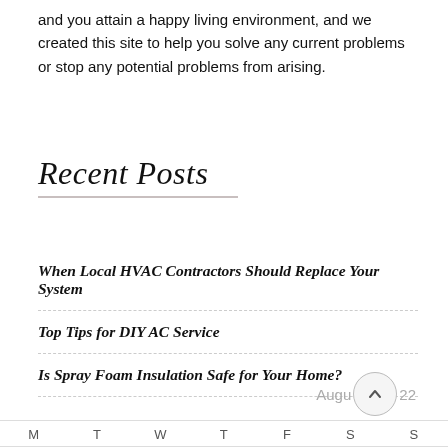and you attain a happy living environment, and we created this site to help you solve any current problems or stop any potential problems from arising.
Recent Posts
When Local HVAC Contractors Should Replace Your System
Top Tips for DIY AC Service
Is Spray Foam Insulation Safe for Your Home?
August 2022  M  T  W  T  F  S  S